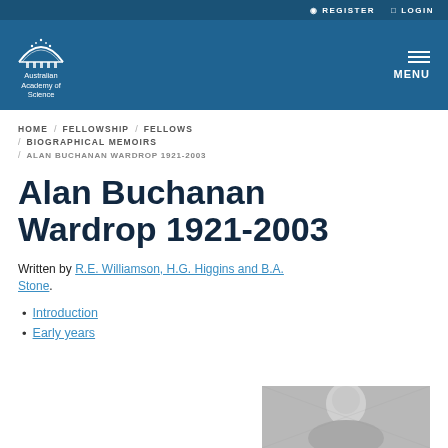REGISTER   LOGIN
[Figure (logo): Australian Academy of Science logo with arch/dome icon and text]
MENU
HOME / FELLOWSHIP / FELLOWS
/ BIOGRAPHICAL MEMOIRS
/ ALAN BUCHANAN WARDROP 1921-2003
Alan Buchanan Wardrop 1921-2003
Written by R.E. Williamson, H.G. Higgins and B.A. Stone.
Introduction
Early years
[Figure (photo): Black and white portrait photograph of Alan Buchanan Wardrop]